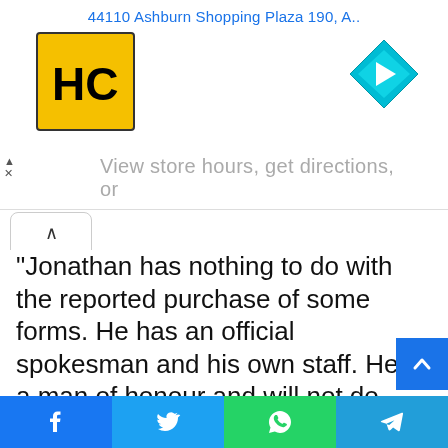44110 Ashburn Shopping Plaza 190, A..
[Figure (screenshot): Advertisement banner with HC logo (yellow square with HC letters) and blue diamond navigation arrow icon, with text 'View store hours, get directions, or']
“Jonathan has nothing to do with the reported purchase of some forms. He has an official spokesman and his own staff. He is a man of honour and will not do anything surreptitiously. The media and the public should be guided.

“I could have denied this hours ago, but I deliberately declined in order to watch his enemies and mine dance
Facebook | Twitter | WhatsApp | Telegram